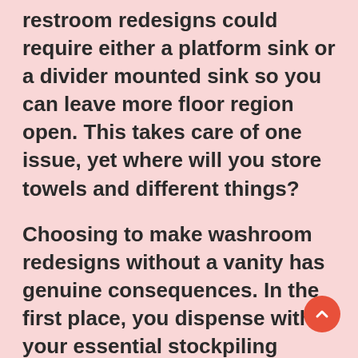restroom redesigns could require either a platform sink or a divider mounted sink so you can leave more floor region open. This takes care of one issue, yet where will you store towels and different things?
Choosing to make washroom redesigns without a vanity has genuine consequences. In the first place, you dispense with your essential stockpiling region. Second you eliminate the ledge region for beautifying and toiletry things.
One arrangement is to move toward